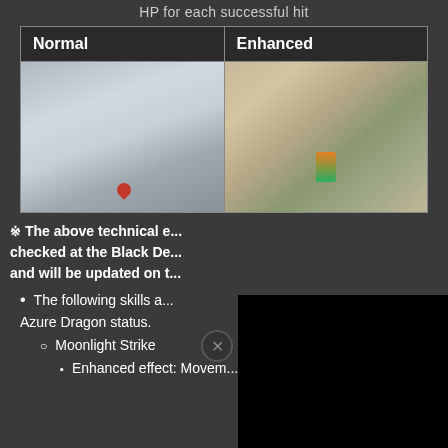HP for each successful hit
| Normal | Enhanced |
| --- | --- |
| [game screenshot - normal mode] | [game screenshot - enhanced mode] |
※ The above technical e... checked at the Black De... and will be updated on t...
The following skills a... Azure Dragon status.
Moonlight Strike
Enhanced effect: Movem...